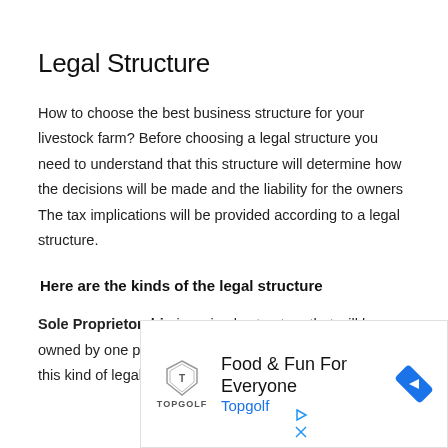Legal Structure
How to choose the best business structure for your livestock farm? Before choosing a legal structure you need to understand that this structure will determine how the decisions will be made and the liability for the owners The tax implications will be provided according to a legal structure.
Here are the kinds of the legal structure
Sole Proprietorship is a simple structure that will be owned by one person. Mostly the livestock farm follows this kind of legal
[Figure (other): Advertisement banner for Topgolf: 'Food & Fun For Everyone' with Topgolf logo and navigation arrow icon]